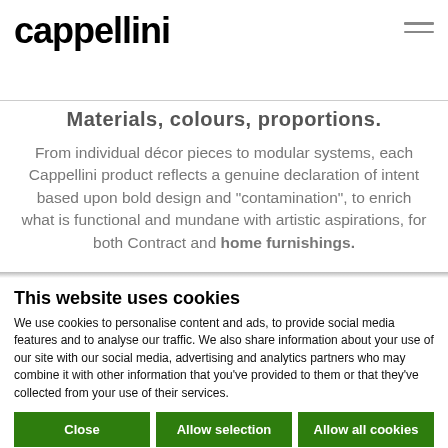cappellini
Materials, colours, proportions.
From individual décor pieces to modular systems, each Cappellini product reflects a genuine declaration of intent based upon bold design and "contamination", to enrich what is functional and mundane with artistic aspirations, for both Contract and home furnishings.
This website uses cookies
We use cookies to personalise content and ads, to provide social media features and to analyse our traffic. We also share information about your use of our site with our social media, advertising and analytics partners who may combine it with other information that you've provided to them or that they've collected from your use of their services.
Close | Allow selection | Allow all cookies
Necessary | Preferences | Statistics | Marketing | Show details